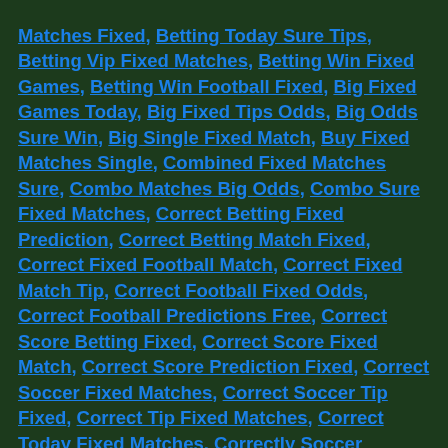Matches Fixed, Betting Today Sure Tips, Betting Vip Fixed Matches, Betting Win Fixed Games, Betting Win Football Fixed, Big Fixed Games Today, Big Fixed Tips Odds, Big Odds Sure Win, Big Single Fixed Match, Buy Fixed Matches Single, Combined Fixed Matches Sure, Combo Matches Big Odds, Combo Sure Fixed Matches, Correct Betting Fixed Prediction, Correct Betting Match Fixed, Correct Fixed Football Match, Correct Fixed Match Tip, Correct Football Fixed Odds, Correct Football Predictions Free, Correct Score Betting Fixed, Correct Score Fixed Match, Correct Score Prediction Fixed, Correct Soccer Fixed Matches, Correct Soccer Tip Fixed, Correct Tip Fixed Matches, Correct Today Fixed Matches, Correctly Soccer Predictions Free, Daily Accurate Fixed Games, Daily Best Fixed Matches, Daily Bet Sure Fixed, Daily Betting Fixed Single, Daily Fixed Games Today, Daily Fixed Odds Sure, Daily Matches Fixed Tips, Daily Single Fixed Match, Daily Soccer Match Fixed, Daily Sure Fixed Match, Daily Sure Win Fixed, Double Fixed Tip Today